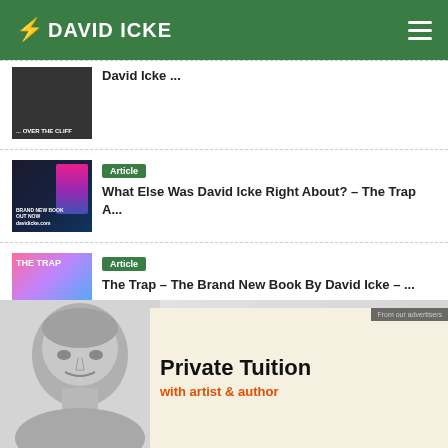DAVID ICKE
David Icke ...
Article – What Else Was David Icke Right About? – The Trap A...
Article – The Trap – The Brand New Book By David Icke – ...
[Figure (photo): Advertisement banner: Private Tuition with artist & author. Shows a grayscale photo of a person's head on the left.]